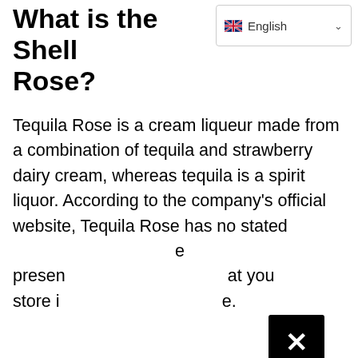What is the Shell Rose?
[Figure (screenshot): Language selector dropdown showing English with UK flag and chevron]
Tequila Rose is a cream liqueur made from a combination of tequila and strawberry dairy cream, whereas tequila is a spirit liquor. According to the company's official website, Tequila Rose has no stated [text obscured] e preserve [text obscured] at you store it [text obscured].